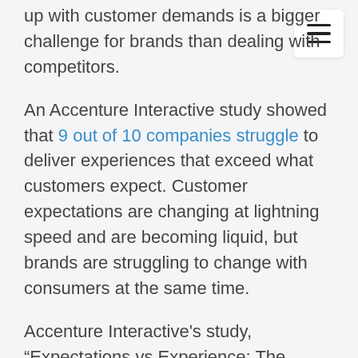up with customer demands is a bigger challenge for brands than dealing with competitors.
An Accenture Interactive study showed that 9 out of 10 companies struggle to deliver experiences that exceed what customers expect. Customer expectations are changing at lightning speed and are becoming liquid, but brands are struggling to change with consumers at the same time.
Accenture Interactive's study, “Expectations vs Experience: The Good, The Bad, The Opportunity”, was